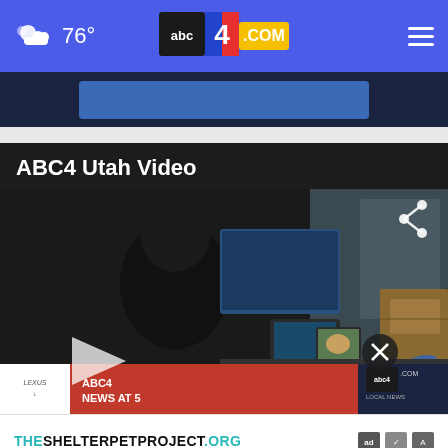76° | abc4.com
[Figure (screenshot): ABC4 Utah website screenshot showing header with weather (76°), abc4.com logo, and hamburger menu on blue background]
[Figure (screenshot): Advertisement banner with dark blue background]
ABC4 Utah Video
[Figure (screenshot): Video player showing a newsroom scene with a person at a desk with monitors and a phone, with play button visible. Bottom overlay shows ABC4 News at 5 ticker. Ad overlay shows THESHELTERPETPROJECT.ORG]
THESHELTERPETPROJECT.ORG